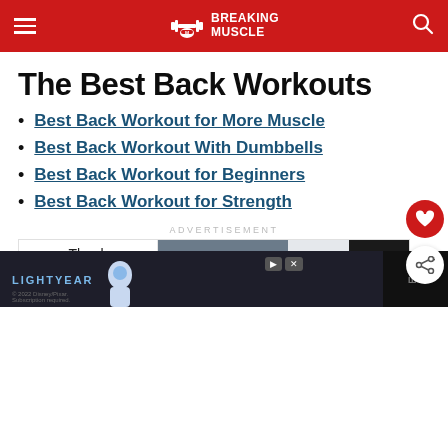Breaking Muscle
The Best Back Workouts
Best Back Workout for More Muscle
Best Back Workout With Dumbbells
Best Back Workout for Beginners
Best Back Workout for Strength
ADVERTISEMENT
[Figure (screenshot): Advertisement banner showing 'Thank you' with flag and pencil imagery, military photo, Operation logo, and 'WHAT'S NEXT → Joseph Baena, Arnold...' text on dark background]
[Figure (screenshot): Bottom advertisement strip showing Lightyear movie promotional content with ad controls]